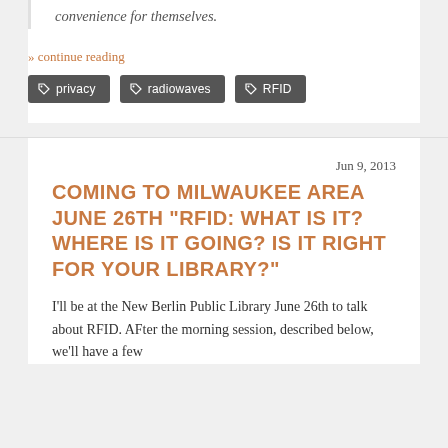convenience for themselves.
» continue reading
privacy   radiowaves   RFID
Jun 9, 2013
COMING TO MILWAUKEE AREA JUNE 26TH "RFID: WHAT IS IT? WHERE IS IT GOING? IS IT RIGHT FOR YOUR LIBRARY?"
I'll be at the New Berlin Public Library June 26th to talk about RFID.  AFter the morning session, described below, we'll have a few hours to have a more informal conversation.